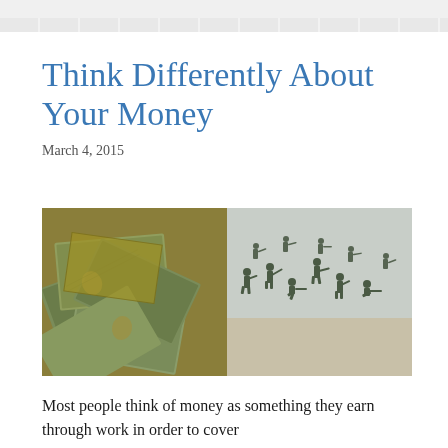Think Differently About Your Money
March 4, 2015
[Figure (photo): Split image: left half shows a pile of US dollar bills; right half shows green plastic toy soldiers on a sandy surface]
Most people think of money as something they earn through work in order to cover